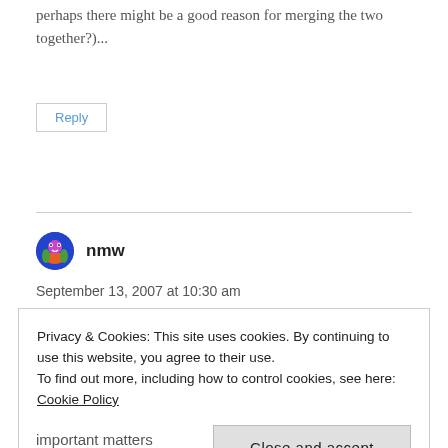perhaps there might be a good reason for merging the two together?)...
Reply
nmw
September 13, 2007 at 10:30 am
Privacy & Cookies: This site uses cookies. By continuing to use this website, you agree to their use.
To find out more, including how to control cookies, see here: Cookie Policy
Close and accept
important matters